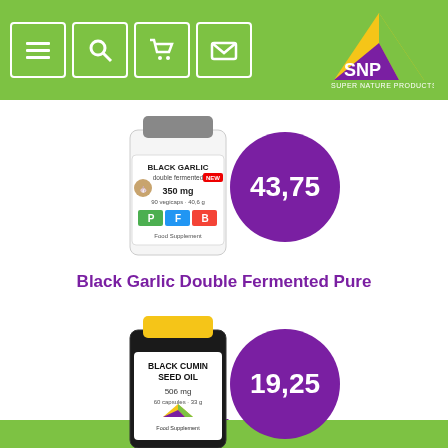SNP Super Nature Products - navigation header with menu, search, cart, and mail icons
[Figure (photo): Black Garlic Double Fermented Pure supplement bottle (PFB brand, 350mg, 90 vegicaps) with purple price badge showing 43,75]
Black Garlic Double Fermented Pure
[Figure (photo): Black Cumin Seed Oil supplement bottle (SNP brand, 506mg, 60 capsules) with purple price badge showing 19,25]
Black cumin seed oil
[Figure (photo): Partial view of another SNP supplement bottle at bottom of page]